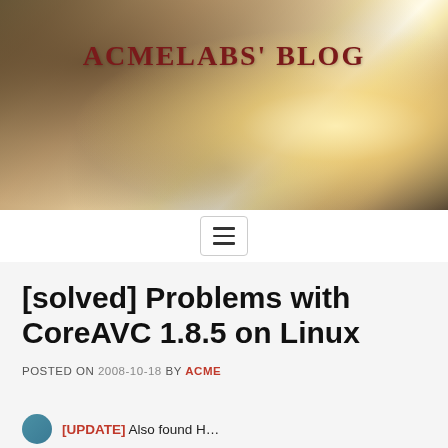[Figure (photo): Blog header background image showing a misty landscape with warm sunlight and silhouetted trees]
ACMELABS' BLOG
my howto collection and stuff
[Figure (other): Navigation menu toggle button (hamburger icon)]
[solved] Problems with CoreAVC 1.8.5 on Linux
POSTED ON 2008-10-18 BY ACME
[UPDATE] Also found H...